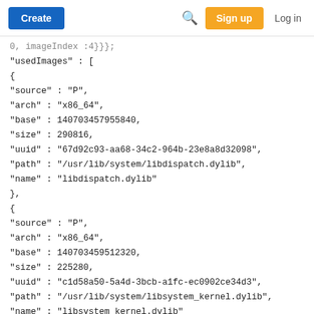Create | [search icon] | Sign up | Log in
0, imageIndex :4}}};
"usedImages" : [
{
"source" : "P",
"arch" : "x86_64",
"base" : 140703457955840,
"size" : 290816,
"uuid" : "67d92c93-aa68-34c2-964b-23e8a8d32098",
"path" : "/usr/lib/system/libdispatch.dylib",
"name" : "libdispatch.dylib"
},
{
"source" : "P",
"arch" : "x86_64",
"base" : 140703459512320,
"size" : 225280,
"uuid" : "c1d58a50-5a4d-3bcb-a1fc-ec0902ce34d3",
"path" : "/usr/lib/system/libsystem_kernel.dylib",
"name" : "libsystem_kernel.dylib"
},
{